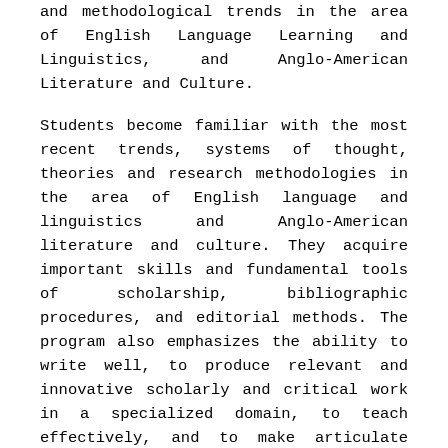and methodological trends in the area of English Language Learning and Linguistics, and Anglo-American Literature and Culture.
Students become familiar with the most recent trends, systems of thought, theories and research methodologies in the area of English language and linguistics and Anglo-American literature and culture. They acquire important skills and fundamental tools of scholarship, bibliographic procedures, and editorial methods. The program also emphasizes the ability to write well, to produce relevant and innovative scholarly and critical work in a specialized domain, to teach effectively, and to make articulate presentations at conferences.
Although the area of study and analysis varies among subjects, the methodologies, practices, and procedures to develop skills are shared among all courses. This allows for different subjects areas to share about 90% of